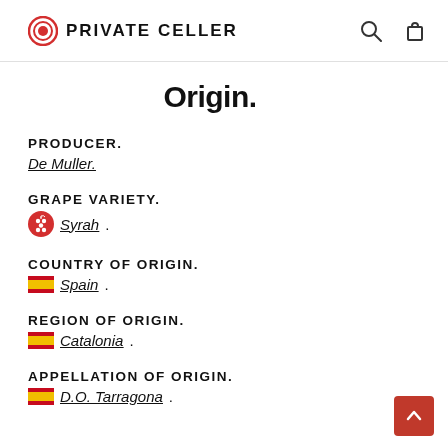PRIVATE CELLER
Origin.
PRODUCER.
De Muller.
GRAPE VARIETY.
Syrah.
COUNTRY OF ORIGIN.
Spain.
REGION OF ORIGIN.
Catalonia.
APPELLATION OF ORIGIN.
D.O. Tarragona.